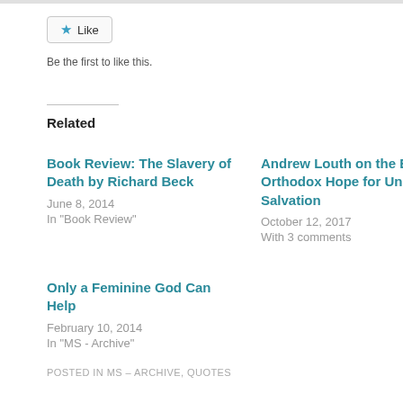[Figure (other): Like button with blue star icon]
Be the first to like this.
Related
Book Review: The Slavery of Death by Richard Beck
June 8, 2014
In "Book Review"
Andrew Louth on the Eastern Orthodox Hope for Universal Salvation
October 12, 2017
With 3 comments
Only a Feminine God Can Help
February 10, 2014
In "MS - Archive"
POSTED IN MS – ARCHIVE, QUOTES